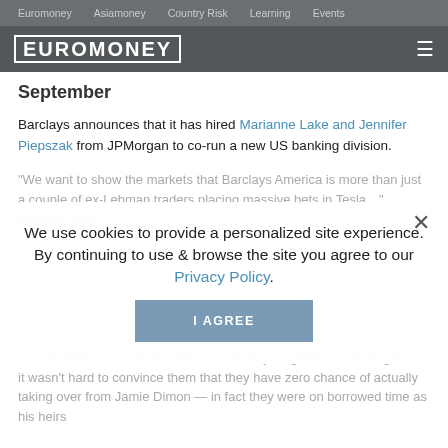Euromoney   Asiamoney   Country Risk   Learning   Events
[Figure (logo): Euromoney logo in white text with border on dark grey background, with hamburger menu icon on right]
September
Barclays announces that it has hired Marianne Lake and Jennifer Piepszak from JPMorgan to co-run a new US banking division.
"We want to show the markets that Barclays America is more than just a couple of ex-Lehman traders placing massive bets in Tesla..." Barclays chief
We use cookies to provide a personalized site experience.
By continuing to use & browse the site you agree to our Privacy Policy.
"I know Marianne and Jennifer from our days together at JPMorgan, so it wasn't hard to convince them that they have zero chance of actually taking over from Jamie Dimon — in fact they were on borrowed time as his heirs